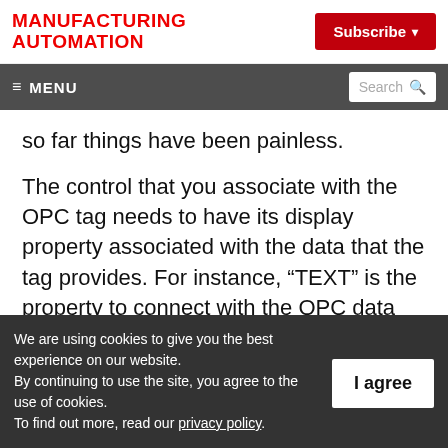MANUFACTURING AUTOMATION
Subscribe
≡ MENU  Search
so far things have been painless.
The control that you associate with the OPC tag needs to have its display property associated with the data that the tag provides. For instance, “TEXT” is the property to connect with the OPC data tag, while “CAPTION” is the
We are using cookies to give you the best experience on our website.
By continuing to use the site, you agree to the use of cookies.
To find out more, read our privacy policy.